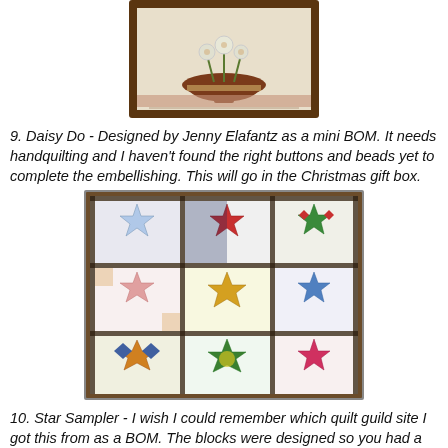[Figure (photo): A framed quilt or textile wall hanging showing a brown bowl with flowers on a light background, with decorative border.]
9. Daisy Do - Designed by Jenny Elafantz as a mini BOM. It needs handquilting and I haven't found the right buttons and beads yet to complete the embellishing. This will go in the Christmas gift box.
[Figure (photo): A star sampler quilt showing multiple colorful star quilt blocks arranged in a grid pattern with sashing, featuring various colors including red, green, yellow, blue, and pink on white backgrounds.]
10. Star Sampler - I wish I could remember which quilt guild site I got this from as a BOM. The blocks were designed so you had a semi-framing of each - how different for me - a learning technique for sashing. It needs a border, quilting, and binding. This will go in the Christmas gift box.